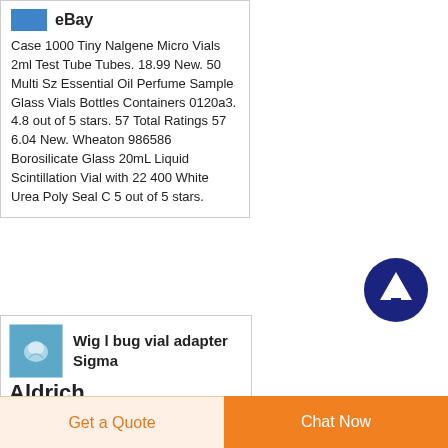eBay
Case 1000 Tiny Nalgene Micro Vials 2ml Test Tube Tubes. 18.99 New. 50 Multi Sz Essential Oil Perfume Sample Glass Vials Bottles Containers 0120a3. 4.8 out of 5 stars. 57 Total Ratings 57 6.04 New. Wheaton 986586 Borosilicate Glass 20mL Liquid Scintillation Vial with 22 400 White Urea Poly Seal C 5 out of 5 stars.
[Figure (illustration): Scroll to top circular button with upward arrow, dark navy/indigo background]
Wig l bug vial adapter Sigma Aldrich
Get a Quote
Chat Now